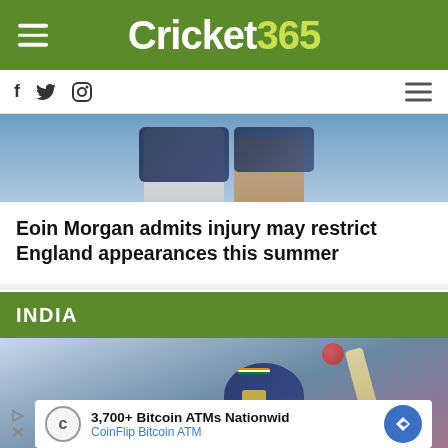Cricket365
Eoin Morgan admits injury may restrict England appearances this summer
INDIA
[Figure (photo): Cricket player close-up in India batting helmet with bat raised, blurred crowd background]
3,700+ Bitcoin ATMs Nationwid
CoinFlip Bitcoin ATM